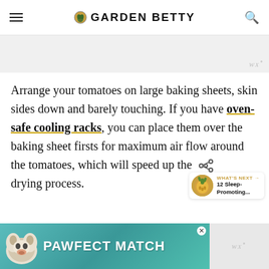GARDEN BETTY
[Figure (other): Gray placeholder image area with watermark]
Arrange your tomatoes on large baking sheets, skin sides down and barely touching. If you have oven-safe cooling racks, you can place them over the baking sheet firsts for maximum air flow around the tomatoes, which will speed up the drying process.
[Figure (other): What's Next widget showing pineapple image and '12 Sleep-Promoting...' text]
[Figure (other): Advertisement banner: PAWFECT MATCH with dog illustration on teal background]